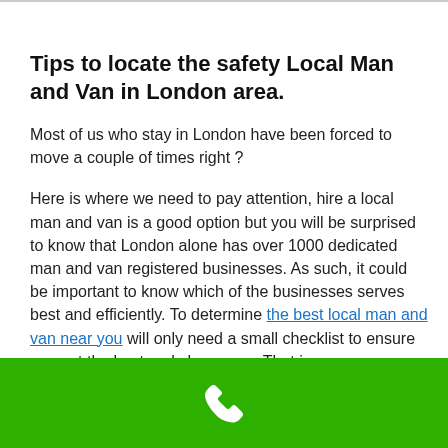Tips to locate the safety Local Man and Van in London area.
Most of us who stay in London have been forced to move a couple of times right ?
Here is where we need to pay attention, hire a local man and van is a good option but you will be surprised to know that London alone has over 1000 dedicated man and van registered businesses. As such, it could be important to know which of the businesses serves best and efficiently. To determine the best local man and van near you will only need a small checklist to ensure you get the best and cheap one. That is:
[Figure (other): Green footer bar with a white phone/call icon centered]